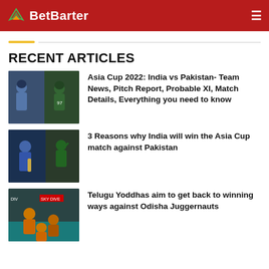BetBarter
RECENT ARTICLES
[Figure (photo): Cricket players from India and Pakistan on the field]
Asia Cup 2022: India vs Pakistan- Team News, Pitch Report, Probable XI, Match Details, Everything you need to know
[Figure (photo): Indian batsman and Pakistan bowler cricket action shot]
3 Reasons why India will win the Asia Cup match against Pakistan
[Figure (photo): Kabaddi match action shot with players on court]
Telugu Yoddhas aim to get back to winning ways against Odisha Juggernauts